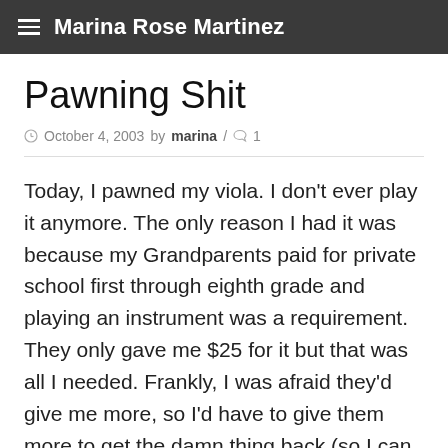Marina Rose Martinez
Pawning Shit
October 4, 2003 by marina / 1
Today, I pawned my viola. I don't ever play it anymore. The only reason I had it was because my Grandparents paid for private school first through eighth grade and playing an instrument was a requirement. They only gave me $25 for it but that was all I needed. Frankly, I was afraid they'd give me more, so I'd have to give them more to get the damn thing back (so I can pawn it again… duh). I'm getting money from my dad on Monday and I get paid on the tenth, so I can buy it back for thirty if I do so within the month. I needed gas money. I had thought about